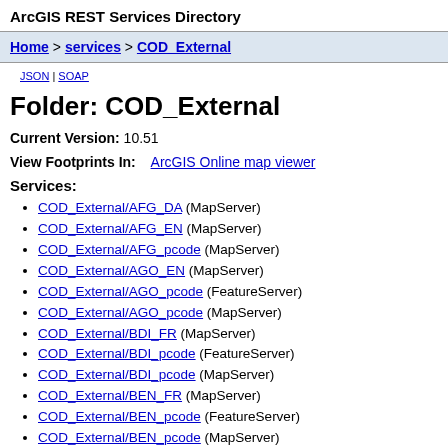ArcGIS REST Services Directory
Home > services > COD_External
JSON | SOAP
Folder: COD_External
Current Version: 10.51
View Footprints In:   ArcGIS Online map viewer
Services:
COD_External/AFG_DA (MapServer)
COD_External/AFG_EN (MapServer)
COD_External/AFG_pcode (MapServer)
COD_External/AGO_EN (MapServer)
COD_External/AGO_pcode (FeatureServer)
COD_External/AGO_pcode (MapServer)
COD_External/BDI_FR (MapServer)
COD_External/BDI_pcode (FeatureServer)
COD_External/BDI_pcode (MapServer)
COD_External/BEN_FR (MapServer)
COD_External/BEN_pcode (FeatureServer)
COD_External/BEN_pcode (MapServer)